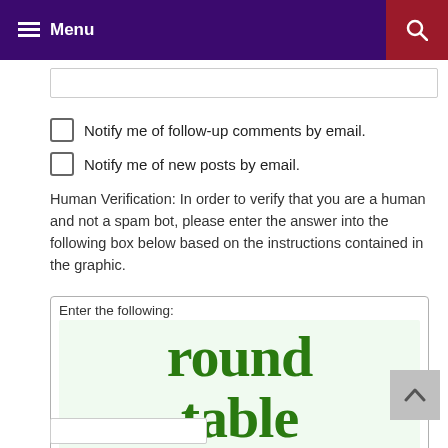Menu
Notify me of follow-up comments by email.
Notify me of new posts by email.
Human Verification: In order to verify that you are a human and not a spam bot, please enter the answer into the following box below based on the instructions contained in the graphic.
[Figure (screenshot): CAPTCHA widget with 'Enter the following:' header, green text reading 'round table' on light green background, a 'Your Answer' input field, Solve Media logo, and refresh/audio/help buttons.]